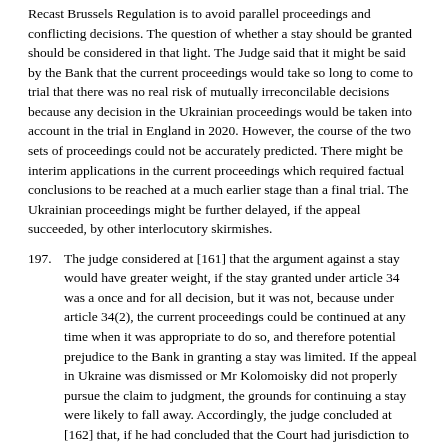Recast Brussels Regulation is to avoid parallel proceedings and conflicting decisions. The question of whether a stay should be granted should be considered in that light. The Judge said that it might be said by the Bank that the current proceedings would take so long to come to trial that there was no real risk of mutually irreconcilable decisions because any decision in the Ukrainian proceedings would be taken into account in the trial in England in 2020. However, the course of the two sets of proceedings could not be accurately predicted. There might be interim applications in the current proceedings which required factual conclusions to be reached at a much earlier stage than a final trial. The Ukrainian proceedings might be further delayed, if the appeal succeeded, by other interlocutory skirmishes.
197. The judge considered at [161] that the argument against a stay would have greater weight, if the stay granted under article 34 was a once and for all decision, but it was not, because under article 34(2), the current proceedings could be continued at any time when it was appropriate to do so, and therefore potential prejudice to the Bank in granting a stay was limited. If the appeal in Ukraine was dismissed or Mr Kolomoisky did not properly pursue the claim to judgment, the grounds for continuing a stay were likely to fall away. Accordingly, the judge concluded at [162] that, if he had concluded that the Court had jurisdiction to try the claim